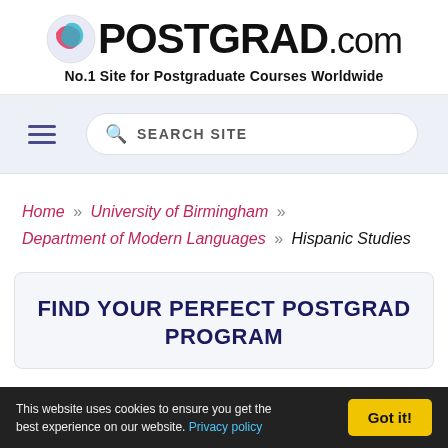[Figure (logo): POSTGRAD.com logo with globe icon and tagline 'No.1 Site for Postgraduate Courses Worldwide']
SEARCH SITE (navigation bar with hamburger menu and search)
Home » University of Birmingham » Department of Modern Languages » Hispanic Studies
FIND YOUR PERFECT POSTGRAD PROGRAM
This website uses cookies to ensure you get the best experience on our website. Privacy policy  Got it!